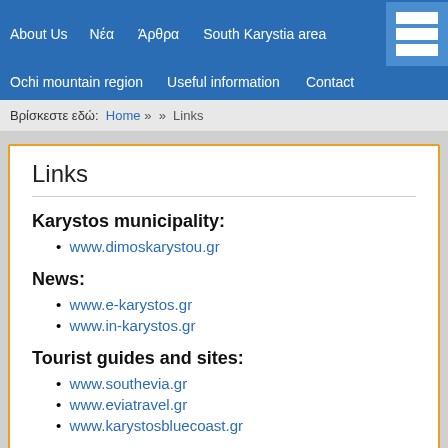About Us | Νέα | Άρθρα | South Karystia area | Ochi mountain region | Useful information | Contact
Βρίσκεστε εδώ: Home » » Links
Links
Karystos municipality:
www.dimoskarystou.gr
News:
www.e-karystos.gr
www.in-karystos.gr
Tourist guides and sites:
www.southevia.gr
www.eviatravel.gr
www.karystosbluecoast.gr